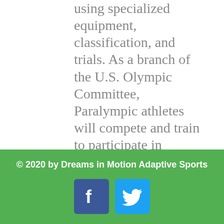using specialized equipment, classification, and trials. As a branch of the U.S. Olympic Committee, Paralympic athletes will compete and train to participate in Paralympic Games which take place just after the Olympic Games every four years. Each sport has specific rules, classifications, and coaching. Additional information can be found at the U.S. Paralympics web site: http://www.teamusa.org/us-paralympics.
© 2020 by Dreams in Motion Adaptive Sports